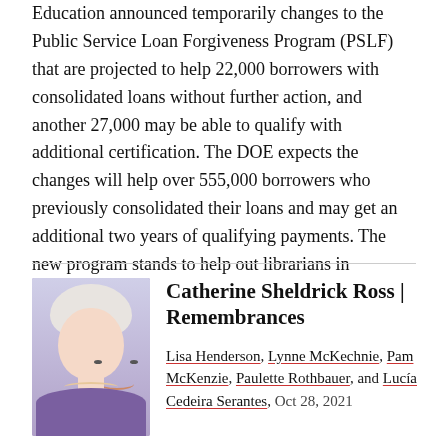Education announced temporary changes to the Public Service Loan Forgiveness Program (PSLF) that are projected to help 22,000 borrowers with consolidated loans without further action, and another 27,000 may be able to qualify with additional certification. The DOE expects the changes will help over 555,000 borrowers who previously consolidated their loans and may get an additional two years of qualifying payments. The new program stands to help out librarians in particular.
[Figure (photo): Portrait photo of an older woman with white hair wearing a purple jacket and pearl necklace]
Catherine Sheldrick Ross | Remembrances
Lisa Henderson, Lynne McKechnie, Pam McKenzie, Paulette Rothbauer, and Lucía Cedeira Serantes,  Oct 28, 2021